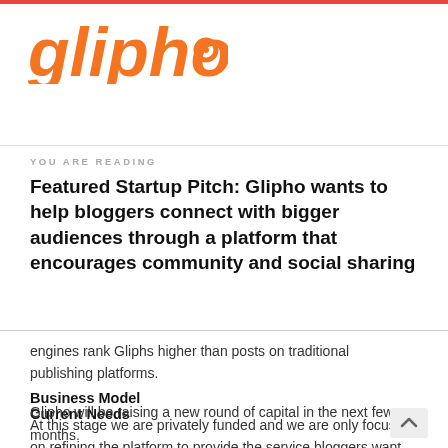glipho
YOU ARE READING
Featured Startup Pitch: Glipho wants to help bloggers connect with bigger audiences through a platform that encourages community and social sharing
engines rank Gliphs higher than posts on traditional publishing platforms.
Business Model
At this stage we are privately funded and we are only focused on refining the platform to provide the service bloggers want and growing the existing community of writers.
Current Needs
Glipho will be raising a new round of capital in the next few months.